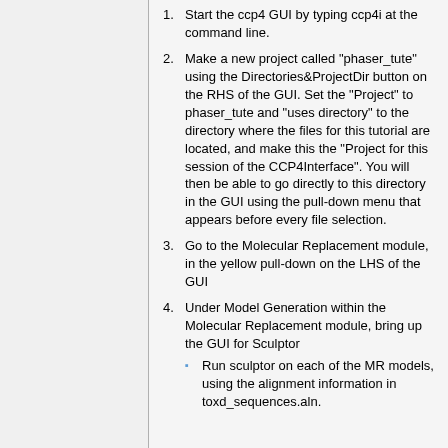Start the ccp4 GUI by typing ccp4i at the command line.
Make a new project called "phaser_tute" using the Directories&ProjectDir button on the RHS of the GUI. Set the "Project" to phaser_tute and "uses directory" to the directory where the files for this tutorial are located, and make this the "Project for this session of the CCP4Interface". You will then be able to go directly to this directory in the GUI using the pull-down menu that appears before every file selection.
Go to the Molecular Replacement module, in the yellow pull-down on the LHS of the GUI
Under Model Generation within the Molecular Replacement module, bring up the GUI for Sculptor
Run sculptor on each of the MR models, using the alignment information in toxd_sequences.aln.